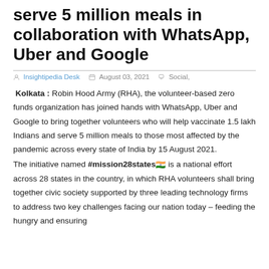serve 5 million meals in collaboration with WhatsApp, Uber and Google
Insightipedia Desk  August 03, 2021  Social,
Kolkata : Robin Hood Army (RHA), the volunteer-based zero funds organization has joined hands with WhatsApp, Uber and Google to bring together volunteers who will help vaccinate 1.5 lakh Indians and serve 5 million meals to those most affected by the pandemic across every state of India by 15 August 2021.
The initiative named #mission28states🇮🇳 is a national effort across 28 states in the country, in which RHA volunteers shall bring together civic society supported by three leading technology firms to address two key challenges facing our nation today – feeding the hungry and ensuring